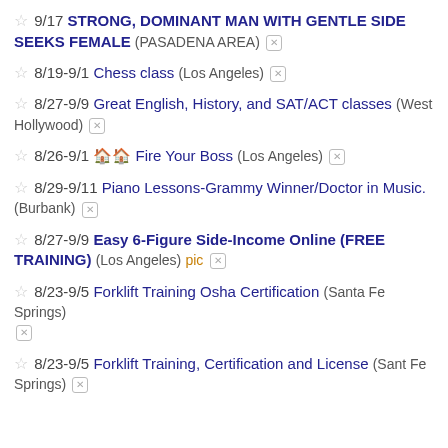9/17 STRONG, DOMINANT MAN WITH GENTLE SIDE SEEKS FEMALE (PASADENA AREA)
8/19-9/1 Chess class (Los Angeles)
8/27-9/9 Great English, History, and SAT/ACT classes (West Hollywood)
8/26-9/1 🏠🏠 Fire Your Boss (Los Angeles)
8/29-9/11 Piano Lessons-Grammy Winner/Doctor in Music. (Burbank)
8/27-9/9 Easy 6-Figure Side-Income Online (FREE TRAINING) (Los Angeles) pic
8/23-9/5 Forklift Training Osha Certification (Santa Fe Springs)
8/23-9/5 Forklift Training, Certification and License (Sant Fe Springs)